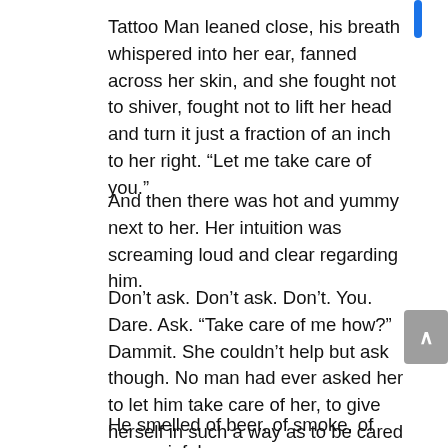Tattoo Man leaned close, his breath whispered into her ear, fanned across her skin, and she fought not to shiver, fought not to lift her head and turn it just a fraction of an inch to her right. “Let me take care of you.”
And then there was hot and yummy next to her. Her intuition was screaming loud and clear regarding him.
Don’t ask. Don’t ask. Don’t. You. Dare. Ask. “Take care of me how?” Dammit. She couldn’t help but ask though. No man had ever asked her to let him take care of her, to give herself in such a way as to be cared for. It didn’t matter right then what he wanted to do to her, how he wanted to take care of her. All that mattered was that he did.
He smelled of beer, of smoke, of every sinful thought she’d ever had…